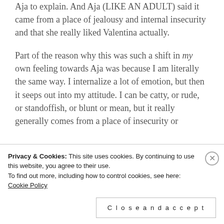Aja to explain. And Aja (LIKE AN ADULT) said it came from a place of jealousy and internal insecurity and that she really liked Valentina actually.

Part of the reason why this was such a shift in my own feeling towards Aja was because I am literally the same way. I internalize a lot of emotion, but then it seeps out into my attitude. I can be catty, or rude, or standoffish, or blunt or mean, but it really generally comes from a place of insecurity or
Privacy & Cookies: This site uses cookies. By continuing to use this website, you agree to their use. To find out more, including how to control cookies, see here: Cookie Policy
Close and accept